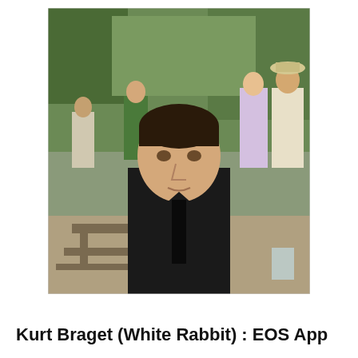[Figure (photo): A young man with dark hair wearing a black shirt seated outdoors at what appears to be an outdoor gathering or event. People are visible in the background among trees and picnic tables.]
Kurt Braget (White Rabbit) : EOS App